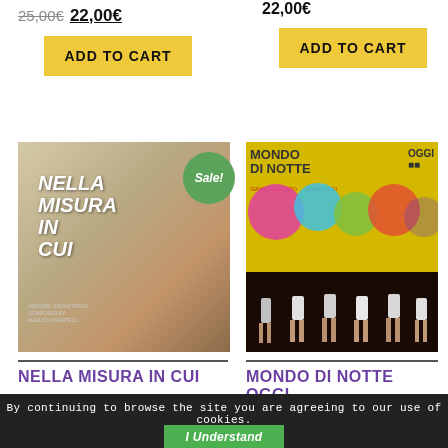25,00€ 22,00€
22,00€
ADD TO CART
ADD TO CART
[Figure (photo): Album cover for Nella Misura In Cui with Sale badge]
[Figure (photo): Album cover for Mondo Di Notte Oggi]
NELLA MISURA IN CUI
MONDO DI NOTTE OGGI
By continuing to browse the site you are agreeing to our use of cookies.
I Understand